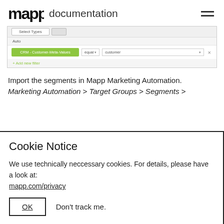mapp documentation
[Figure (screenshot): Mapp Marketing Automation filter UI showing a green 'CRM - Customer-Meta-Values' button, 'equal' dropdown, 'customer' dropdown, an X button, and '+ Add new filter' link]
Import the segments in Mapp Marketing Automation.
Marketing Automation > Target Groups > Segments >
Cookie Notice
We use technically neccessary cookies. For details, please have a look at:
mapp.com/privacy
OK     Don't track me.